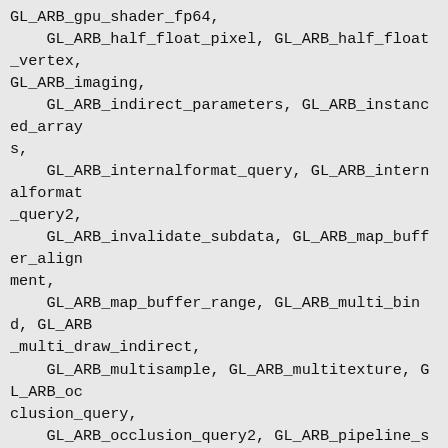GL_ARB_gpu_shader_fp64,
    GL_ARB_half_float_pixel, GL_ARB_half_float_vertex,
GL_ARB_imaging,
    GL_ARB_indirect_parameters, GL_ARB_instanced_arrays,
    GL_ARB_internalformat_query, GL_ARB_internalformat_query2,
    GL_ARB_invalidate_subdata, GL_ARB_map_buffer_alignment,
    GL_ARB_map_buffer_range, GL_ARB_multi_bind, GL_ARB_multi_draw_indirect,
    GL_ARB_multisample, GL_ARB_multitexture, GL_ARB_occlusion_query,
    GL_ARB_occlusion_query2, GL_ARB_pipeline_statistics_query,
    GL_ARB_pixel_buffer_object, GL_ARB_point_parameters, GL_ARB_point_sprite,
    GL_ARB_program_interface_query, GL_ARB_provoking_vertex,
    GL_ARB_query_buffer_object, GL_ARB_robust_buffer_access_behavior,
    GL_ARB_robustness, GL_ARB_sample_shading, GL_ARB_sampler_objects,
    GL_ARB_seamless_cube_map, GL_ARB_seamless_cubemap_per_texture,